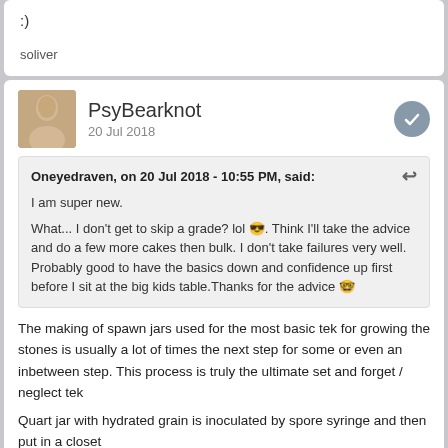:)
soliver
PsyBearknot
20 Jul 2018
Oneyedraven, on 20 Jul 2018 - 10:55 PM, said:
I am super new.
What... I don't get to skip a grade? lol 😎. Think I'll take the advice and do a few more cakes then bulk. I don't take failures very well. Probably good to have the basics down and confidence up first before I sit at the big kids table.Thanks for the advice 🤓
The making of spawn jars used for the most basic tek for growing the stones is usually a lot of times the next step for some or even an inbetween step. This process is truly the ultimate set and forget / neglect tek
Quart jar with hydrated grain is inoculated by spore syringe and then put in a closet
For 6-9 months